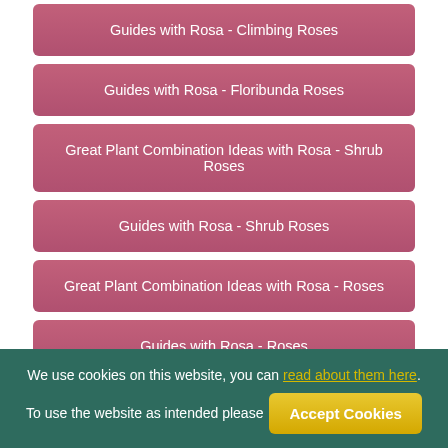Guides with Rosa - Climbing Roses
Guides with Rosa - Floribunda Roses
Great Plant Combination Ideas with Rosa - Shrub Roses
Guides with Rosa - Shrub Roses
Great Plant Combination Ideas with Rosa - Roses
Guides with Rosa - Roses
Alternative Plants to Consider
[Figure (photo): Partial view of a plant/foliage image strip at the bottom of the page]
We use cookies on this website, you can read about them here. To use the website as intended please Accept Cookies